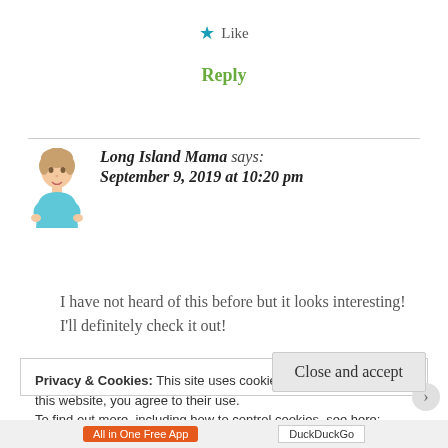★ Like
Reply
Long Island Mama says: September 9, 2019 at 10:20 pm
[Figure (illustration): Avatar illustration of a woman with light hair in a teal outfit]
I have not heard of this before but it looks interesting! I'll definitely check it out!
Privacy & Cookies: This site uses cookies. By continuing to use this website, you agree to their use.
To find out more, including how to control cookies, see here: Cookie Policy
Close and accept